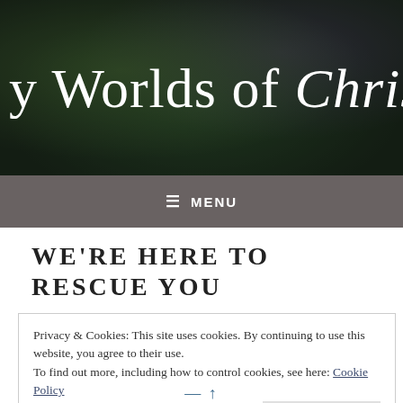[Figure (photo): Dark nature/foliage background with website header title text 'y Worlds of Christin' in white serif and script fonts]
≡  MENU
WE'RE HERE TO RESCUE YOU
Privacy & Cookies: This site uses cookies. By continuing to use this website, you agree to their use.
To find out more, including how to control cookies, see here: Cookie Policy
Close and accept